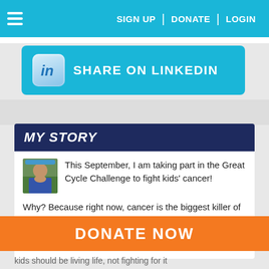SIGN UP | DONATE | LOGIN
[Figure (screenshot): LinkedIn Share button with LinkedIn logo icon and text SHARE ON LINKEDIN on cyan background]
MY STORY
This September, I am taking part in the Great Cycle Challenge to fight kids' cancer!
Why? Because right now, cancer is the biggest killer of children from disease in the United States. Over 15,700 children are diagnosed every year, and sadly, 38 children
kids should be living life, not fighting for it